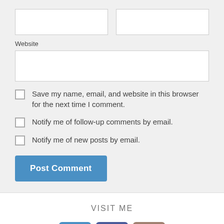Website
Save my name, email, and website in this browser for the next time I comment.
Notify me of follow-up comments by email.
Notify me of new posts by email.
Post Comment
VISIT ME
[Figure (other): Three social media icons: Twitter (blue), Facebook (dark blue), Instagram (brown/taupe)]